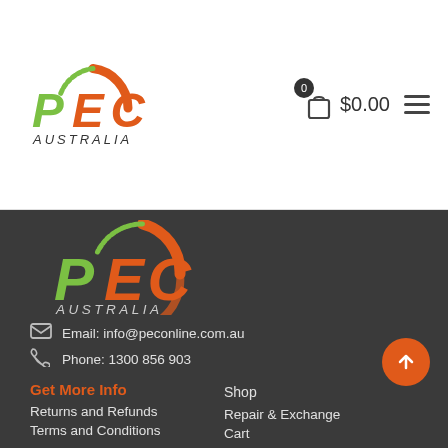[Figure (logo): PEC Australia logo in header - green and orange/red colors with speedometer arc design]
[Figure (logo): PEC Australia large logo in footer - green and orange/red colors with speedometer arc design on dark background]
Email: info@peconline.com.au
Phone: 1300 856 903
Get More Info
Returns and Refunds
Terms and Conditions
Shop
Repair & Exchange
Cart